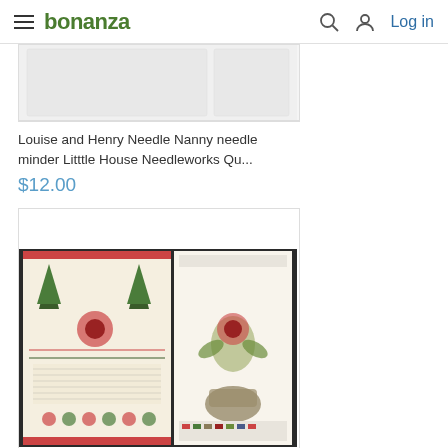bonanza  Log in
[Figure (photo): Partial product image placeholder (top portion of first product card, mostly white)]
Louise and Henry Needle Nanny needle minder Litttle House Needleworks Qu...
$12.00
[Figure (photo): Product photo showing two cross stitch sampler cards - left is a large detailed red and green sampler with floral and tree motifs, right is a booklet showing 'Hands Across the Sea Samplers' with a floral vase design]
Sampler Card: Ann Uffindell cross stitch Hands Across The Sea Samplers